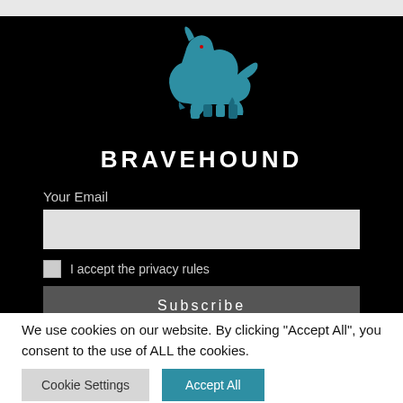[Figure (logo): Bravehound logo: blue Scottish terrier silhouette above the text BRAVEHOUND in white bold uppercase letters on black background]
Your Email
I accept the privacy rules
Subscribe
We use cookies on our website. By clicking “Accept All”, you consent to the use of ALL the cookies.
Cookie Settings
Accept All